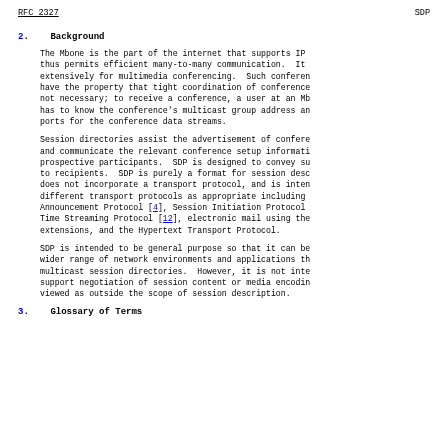RFC 2327   SDP
2.   Background
The Mbone is the part of the internet that supports IP thus permits efficient many-to-many communication.  It extensively for multimedia conferencing.  Such conferen have the property that tight coordination of conference not necessary; to receive a conference, a user at an Mb has to know the conference's multicast group address an ports for the conference data streams.
Session directories assist the advertisement of confere and communicate the relevant conference setup informati prospective participants.  SDP is designed to convey su to recipients.  SDP is purely a format for session desc does not incorporate a transport protocol, and is inten different transport protocols as appropriate including Announcement Protocol [4], Session Initiation Protocol Time Streaming Protocol [12], electronic mail using the extensions, and the Hypertext Transport Protocol.
SDP is intended to be general purpose so that it can be wider range of network environments and applications th multicast session directories.  However, it is not inte support negotiation of session content or media encodin viewed as outside the scope of session description.
3.   Glossary of Terms